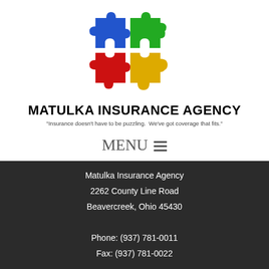[Figure (logo): Four interlocking puzzle pieces in blue, green, red, and yellow forming a 2x2 grid logo for Matulka Insurance Agency]
MATULKA INSURANCE AGENCY
"Insurance doesn't have to be puzzling.  We've got coverage that fits."
MENU ≡
Matulka Insurance Agency
2262 County Line Road
Beavercreek, Ohio 45430

Phone: (937) 781-0011
Fax: (937) 781-0022